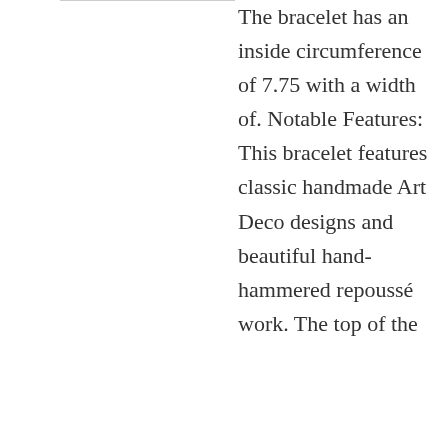The bracelet has an inside circumference of 7.75 with a width of. Notable Features: This bracelet features classic handmade Art Deco designs and beautiful hand-hammered repoussé work. The top of the